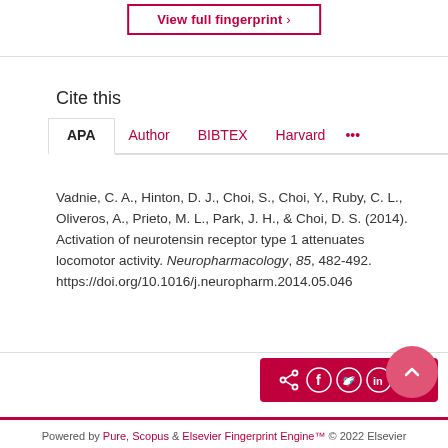View full fingerprint ›
Cite this
APA | Author | BIBTEX | Harvard | ...
Vadnie, C. A., Hinton, D. J., Choi, S., Choi, Y., Ruby, C. L., Oliveros, A., Prieto, M. L., Park, J. H., & Choi, D. S. (2014). Activation of neurotensin receptor type 1 attenuates locomotor activity. Neuropharmacology, 85, 482-492. https://doi.org/10.1016/j.neuropharm.2014.05.046
Powered by Pure, Scopus & Elsevier Fingerprint Engine™ © 2022 Elsevier